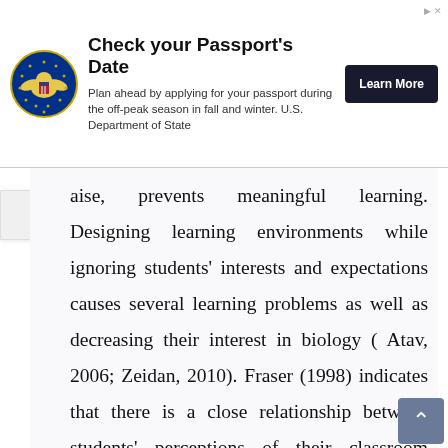[Figure (other): Advertisement banner: U.S. Department of State passport advertisement with eagle seal logo, title 'Check your Passport's Date', body text 'Plan ahead by applying for your passport during the off-peak season in fall and winter. U.S. Department of State', and a 'Learn More' button.]
aise, prevents meaningful learning. Designing learning environments while ignoring students' interests and expectations causes several learning problems as well as decreasing their interest in biology ( Atav, 2006; Zeidan, 2010). Fraser (1998) indicates that there is a close relationship between students' perceptions of their classroom learning environment and their success. Osborne and Collins (2001) also report that students' diminishing interest in learning science was due